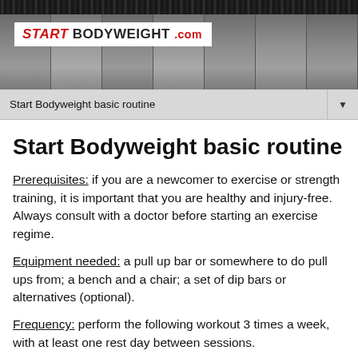[Figure (photo): Banner showing Start Bodyweight logo on white background with shirtless men in a row in black and white photo strip, dark textured top border]
Start Bodyweight basic routine
Start Bodyweight basic routine
Prerequisites: if you are a newcomer to exercise or strength training, it is important that you are healthy and injury-free. Always consult with a doctor before starting an exercise regime.
Equipment needed: a pull up bar or somewhere to do pull ups from; a bench and a chair; a set of dip bars or alternatives (optional).
Frequency: perform the following workout 3 times a week, with at least one rest day between sessions.